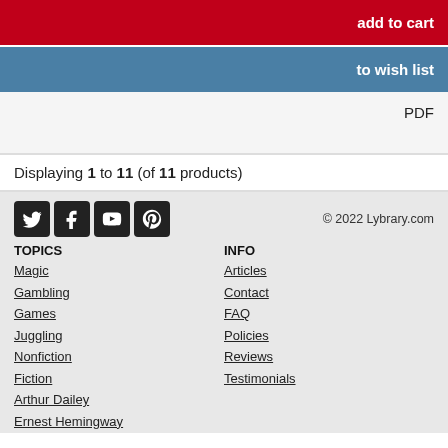add to cart
to wish list
PDF
Displaying 1 to 11 (of 11 products)
© 2022 Lybrary.com
TOPICS: Magic, Gambling, Games, Juggling, Nonfiction, Fiction, Arthur Dailey, Ernest Hemingway
INFO: Articles, Contact, FAQ, Policies, Reviews, Testimonials